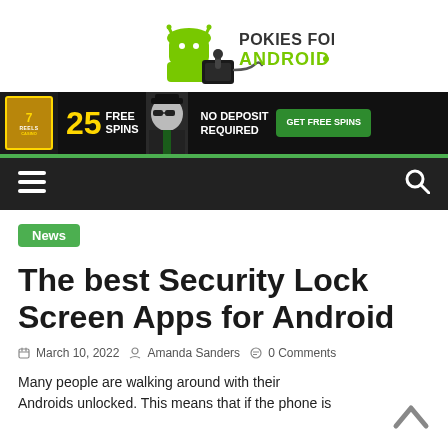[Figure (logo): Pokies for Android logo with Android mascot holding a joystick]
[Figure (infographic): 7Reels Casino banner ad: 25 Free Spins, No Deposit Required, Get Free Spins button]
[Figure (infographic): Navigation bar with hamburger menu icon and search icon on dark background]
News
The best Security Lock Screen Apps for Android
March 10, 2022  Amanda Sanders  0 Comments
Many people are walking around with their Androids unlocked. This means that if the phone is